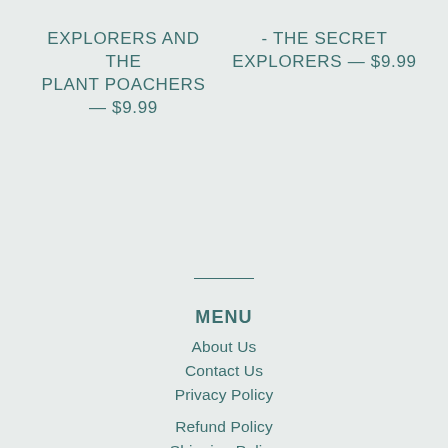EXPLORERS AND THE PLANT POACHERS — $9.99
- THE SECRET EXPLORERS — $9.99
MENU
About Us
Contact Us
Privacy Policy
Refund Policy
Shipping Policy